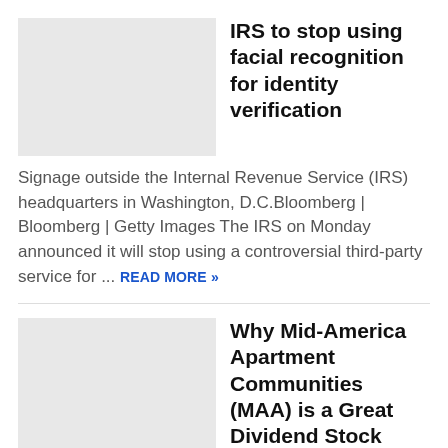[Figure (photo): Placeholder thumbnail image for IRS article]
IRS to stop using facial recognition for identity verification
Signage outside the Internal Revenue Service (IRS) headquarters in Washington, D.C.Bloomberg | Bloomberg | Getty Images The IRS on Monday announced it will stop using a controversial third-party service for ...
READ MORE »
[Figure (photo): Placeholder thumbnail image for Mid-America Apartment Communities article]
Why Mid-America Apartment Communities (MAA) is a Great Dividend Stock Right Now
Whether it's through stocks, bonds, ETFs, or other types of securities, all investors love seeing their